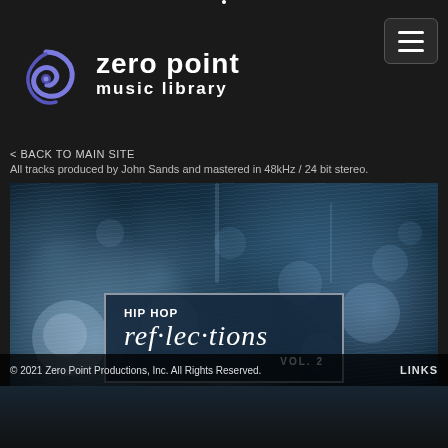[Figure (logo): Zero Point Music Library spiral logo — purple/blue swirl on dark background]
zero point music library
< BACK TO MAIN SITE
All tracks produced by John Sands and mastered in 48kHz / 24 bit stereo.
[Figure (photo): Rainy city night bokeh background with album cover label reading: HIP HOP ref·lec·tions VOL. 2]
© 2021 Zero Point Productions, Inc. All Rights Reserved.    LINKS